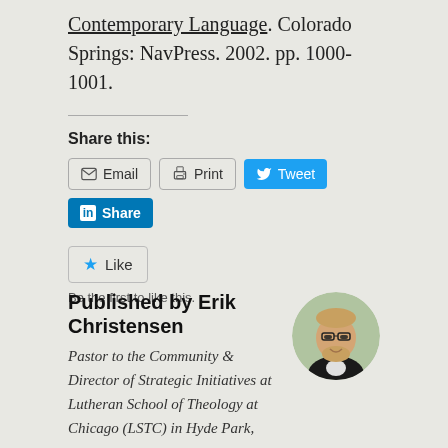Contemporary Language. Colorado Springs: NavPress. 2002. pp. 1000-1001.
Share this:
[Figure (infographic): Social sharing buttons: Email, Print, Tweet (Twitter), Share (LinkedIn)]
[Figure (infographic): Like button with star icon and text 'Be the first to like this.']
Published by Erik Christensen
Pastor to the Community & Director of Strategic Initiatives at Lutheran School of Theology at Chicago (LSTC) in Hyde Park,
[Figure (photo): Circular avatar photo of Erik Christensen, a man with glasses and beard, smiling, wearing a dark jacket.]